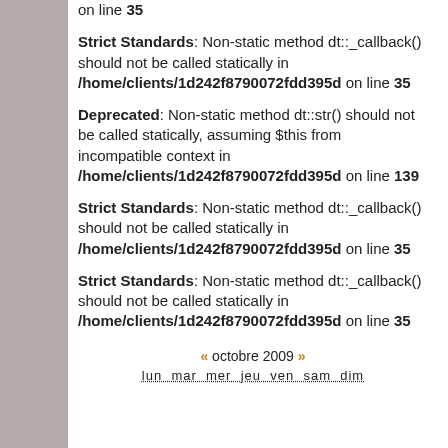on line 35
Strict Standards: Non-static method dt::_callback() should not be called statically in /home/clients/1d242f8790072fdd395c on line 35
Deprecated: Non-static method dt::str() should not be called statically, assuming $this from incompatible context in /home/clients/1d242f8790072fdd395c on line 139
Strict Standards: Non-static method dt::_callback() should not be called statically in /home/clients/1d242f8790072fdd395c on line 35
Strict Standards: Non-static method dt::_callback() should not be called statically in /home/clients/1d242f8790072fdd395c on line 35
« octobre 2009 »
lun mar mer jeu ven sam dim